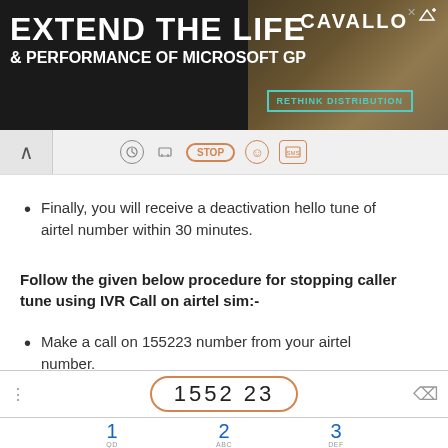[Figure (screenshot): Advertisement banner for Cavallo: 'EXTEND THE LIFE & PERFORMANCE OF MICROSOFT GP' with RETHINK DISTRIBUTION button]
[Figure (screenshot): Browser navigation bar with back arrow, stop button, and other browser icons]
Finally, you will receive a deactivation hello tune of airtel number within 30 minutes.
Follow the given below procedure for stopping caller tune using IVR Call on airtel sim:-
Make a call on 155223 number from your airtel number.
[Figure (screenshot): Phone dialer UI showing '1552 23' in an orange oval, with numeric keypad showing 1 (QD), 2 (ABC), 3 (DEF), 4, 5, 6]